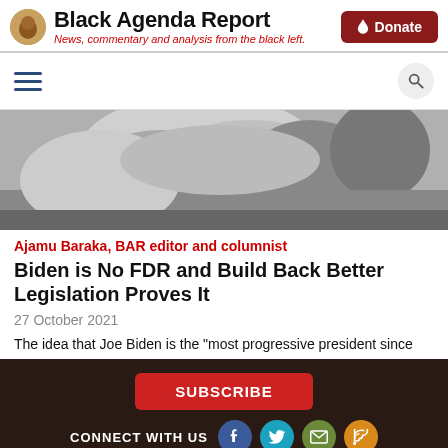Black Agenda Report — News, commentary and analysis from the black left.
[Figure (photo): Black and white close-up photograph of a person's face/head in profile]
Ajamu Baraka, BAR editor and columnist
Biden is No FDR and Build Back Better Legislation Proves It
27 October 2021
The idea that Joe Biden is the "most progressive president since
SUBSCRIBE | CONNECT WITH US | ABOUT US | CONTACT US